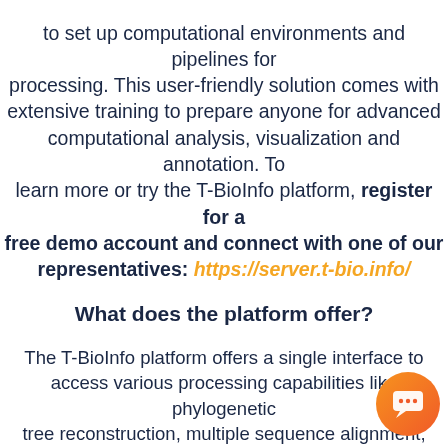to set up computational environments and pipelines for processing. This user-friendly solution comes with extensive training to prepare anyone for advanced computational analysis, visualization and annotation. To learn more or try the T-BioInfo platform, register for a free demo account and connect with one of our representatives: https://server.t-bio.info/
What does the platform offer?
The T-BioInfo platform offers a single interface to access various processing capabilities like phylogenetic tree reconstruction, multiple sequence alignment, variant calling from NGS genomic data, transcriptomic analysis of RNA-seq data, 3D structural analysis and screening of small molecules as well as specialized pipelines for oncology, virology, neuroscience, and